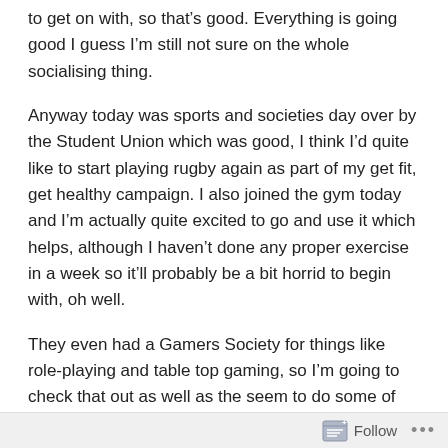to get on with, so that's good. Everything is going good I guess I'm still not sure on the whole socialising thing.
Anyway today was sports and societies day over by the Student Union which was good, I think I'd quite like to start playing rugby again as part of my get fit, get healthy campaign. I also joined the gym today and I'm actually quite excited to go and use it which helps, although I haven't done any proper exercise in a week so it'll probably be a bit horrid to begin with, oh well.
They even had a Gamers Society for things like role-playing and table top gaming, so I'm going to check that out as well as the seem to do some of the Games Workshop stuff, it looked fairly decent so it might be fun. They didn't have a photography society which I thought
Follow